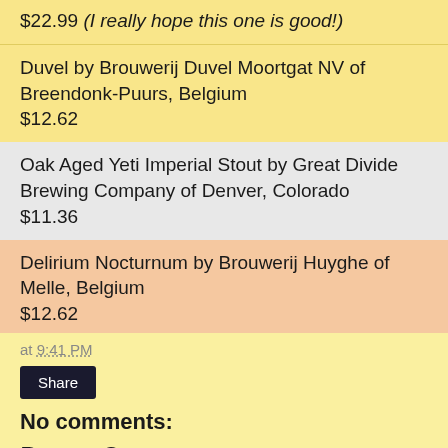$22.99 (I really hope this one is good!)
Duvel by Brouwerij Duvel Moortgat NV of Breendonk-Puurs, Belgium
$12.62
Oak Aged Yeti Imperial Stout by Great Divide Brewing Company of Denver, Colorado
$11.36
Delirium Nocturnum by Brouwerij Huyghe of Melle, Belgium
$12.62
at 9:41 PM
Share
No comments:
Post a Comment
← Home →